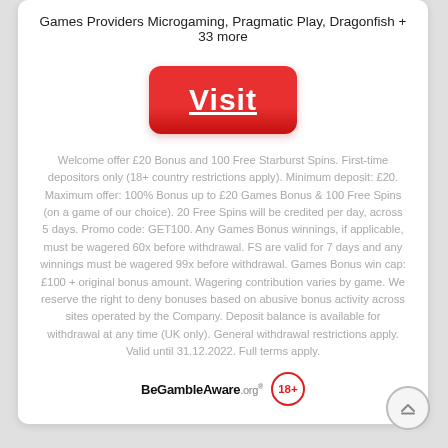Games Providers Microgaming, Pragmatic Play, Dragonfish + 33 more
[Figure (other): Red Visit button with underlined white text]
Welcome offer £20 Bonus and 100 Free Starburst Spins. First-time depositors only (18+ country restrictions apply). Minimum deposit: £20. Maximum offer: 100% Bonus up to £20 Games Bonus & 100 Free Spins (on a game of our choice). 20 Free Spins will be credited per day, across 5 days. Promo code: GET100. Any Games Bonus winnings, if applicable, must be wagered 60x before withdrawal. FS are valid for 7 days and any winnings must be wagered 99x before withdrawal. Games Bonus win cap: £100 + original bonus amount. Wagering contribution varies by game. We reserve the right to deny bonuses based on abusive bonus activity across sites operated by the Company. Deposit balance is available for withdrawal at any time (UK only). General withdrawal restrictions apply. Valid until 31.12.2022. Full terms apply.
[Figure (logo): BeGambleAware.org logo and 18+ badge]